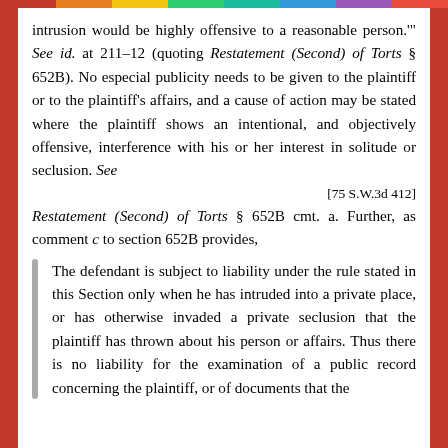intrusion would be highly offensive to a reasonable person.'" See id. at 211-12 (quoting Restatement (Second) of Torts § 652B). No especial publicity needs to be given to the plaintiff or to the plaintiff's affairs, and a cause of action may be stated where the plaintiff shows an intentional, and objectively offensive, interference with his or her interest in solitude or seclusion. See
[75 S.W.3d 412]
Restatement (Second) of Torts § 652B cmt. a. Further, as comment c to section 652B provides,
The defendant is subject to liability under the rule stated in this Section only when he has intruded into a private place, or has otherwise invaded a private seclusion that the plaintiff has thrown about his person or affairs. Thus there is no liability for the examination of a public record concerning the plaintiff, or of documents that the